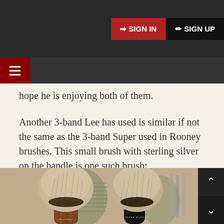SIGN IN  SIGN UP
hope he is enjoying both of them.
Another 3-band Lee has used is similar if not the same as the 3-band Super used in Rooney brushes. This small brush with sterling silver on the handle is one such brush:
[Figure (photo): Two shaving brushes side by side. The left brush has a warm brown burl wood handle with a label reading 'Blond Badger' and a full knot of badger hair. The right brush has a black handle labeled 'Super Badger' with a similarly full knot. Both brushes are displayed against a background of shaving accessories.]